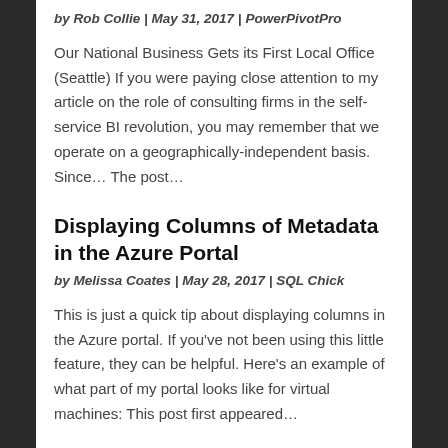by Rob Collie | May 31, 2017 | PowerPivotPro
Our National Business Gets its First Local Office (Seattle) If you were paying close attention to my article on the role of consulting firms in the self-service BI revolution, you may remember that we operate on a geographically-independent basis. Since... The post...
Displaying Columns of Metadata in the Azure Portal
by Melissa Coates | May 28, 2017 | SQL Chick
This is just a quick tip about displaying columns in the Azure portal. If you've not been using this little feature, they can be helpful. Here's an example of what part of my portal looks like for virtual machines: This post first appeared...